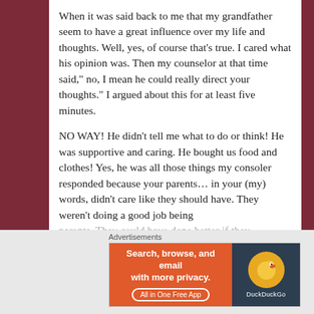When it was said back to me that my grandfather seem to have a great influence over my life and thoughts. Well, yes, of course that's true. I cared what his opinion was. Then my counselor at that time said," no, I mean he could really direct your thoughts." I argued about this for at least five minutes.
NO WAY! He didn't tell me what to do or think! He was supportive and caring. He bought us food and clothes! Yes, he was all those things my consoler responded because your parents... in your (my) words, didn't care like they should have. They weren't doing a good job being parents. They could have done better if they
Advertisements
[Figure (other): DuckDuckGo advertisement banner: orange left panel reading 'Search, browse, and email with more privacy. All in One Free App' with dark right panel showing DuckDuckGo logo and duck icon.]